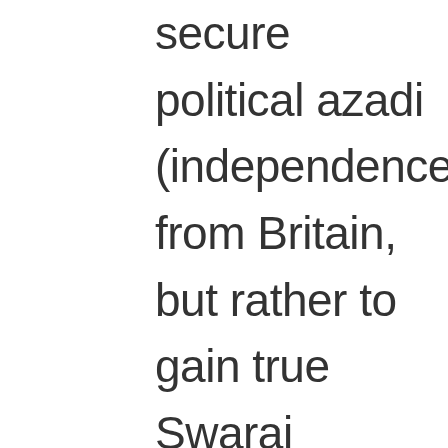secure political azadi (independence) from Britain, but rather to gain true Swaraj (liberation and